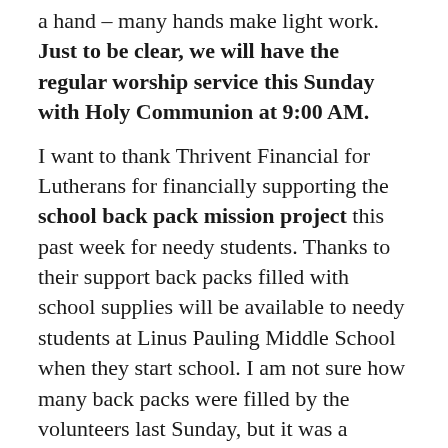a hand – many hands make light work. Just to be clear, we will have the regular worship service this Sunday with Holy Communion at 9:00 AM.

I want to thank Thrivent Financial for Lutherans for financially supporting the school back pack mission project this past week for needy students. Thanks to their support back packs filled with school supplies will be available to needy students at Linus Pauling Middle School when they start school. I am not sure how many back packs were filled by the volunteers last Sunday, but it was a bunch. I am guessing at